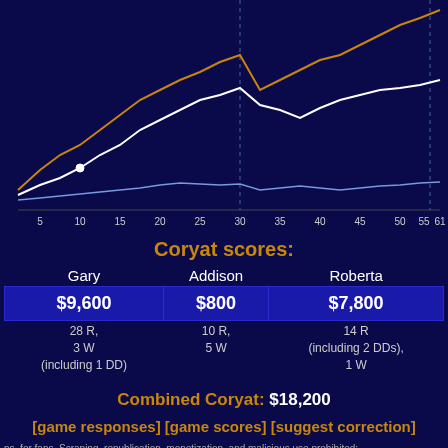[Figure (line-chart): Line chart showing cumulative scores over 61 clues for three Jeopardy players (Gary, Addison, Roberta). X-axis from 5 to 61, multiple colored step-lines on dark blue background with dashed vertical line at clue 30.]
Coryat scores:
| Gary | Addison | Roberta |
| --- | --- | --- |
| $9,600 | $800 | $7,800 |
| 28 R,
3 W
(including 1 DD) | 10 R,
5 W | 14 R
(including 2 DDs),
1 W |
Combined Coryat: $18,200
[game responses] [game scores] [suggest correction]
ns, for fans. Scraping, republication, monetization, and malicious use prohibited; l collect identifying information. See terms. The Jeopardy! game show and all t not limited to copyright and trademark thereto, are the property of Jeopardy ected under law. This website is not affiliated with, sponsored by, or operated by n the discussion at JBoard.tv.